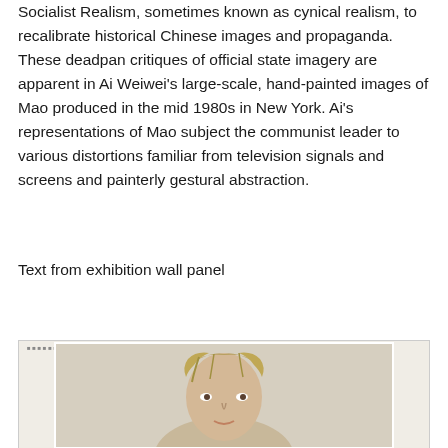Socialist Realism, sometimes known as cynical realism, to recalibrate historical Chinese images and propaganda. These deadpan critiques of official state imagery are apparent in Ai Weiwei's large-scale, hand-painted images of Mao produced in the mid 1980s in New York. Ai's representations of Mao subject the communist leader to various distortions familiar from television signals and screens and painterly gestural abstraction.
Text from exhibition wall panel
[Figure (photo): A photograph showing a person's head and upper body, displayed within a white-bordered frame on a beige/tan background.]